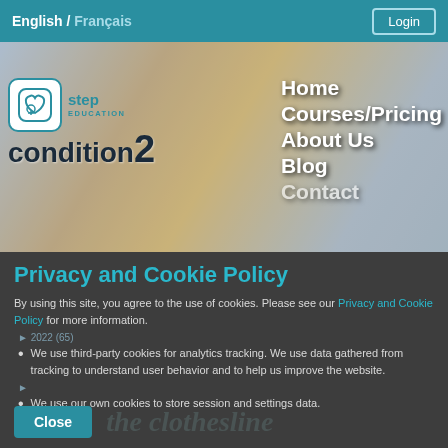English / Français   Login
[Figure (screenshot): Hero banner image with medical background showing hands on laptop and stethoscope. Contains Step Education Condition2 logo on the left and navigation menu (Home, Courses/Pricing, About Us, Blog, Contact) on the right.]
Privacy and Cookie Policy
By using this site, you agree to the use of cookies. Please see our Privacy and Cookie Policy for more information.
► 2022 (65)
We use third-party cookies for analytics tracking. We use data gathered from tracking to understand user behavior and to help us improve the website.
We use our own cookies to store session and settings data.
Close   the clothesline